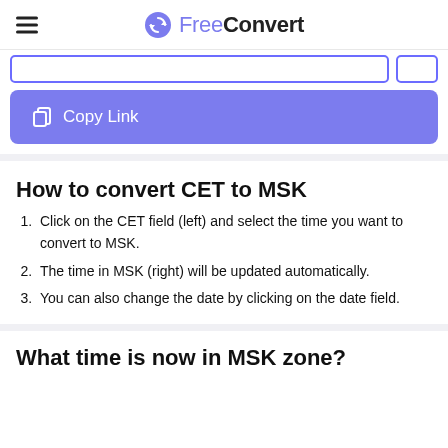FreeConvert
[Figure (screenshot): URL bar and a Go button at top of browser area]
Copy Link
How to convert CET to MSK
Click on the CET field (left) and select the time you want to convert to MSK.
The time in MSK (right) will be updated automatically.
You can also change the date by clicking on the date field.
What time is now in MSK zone?